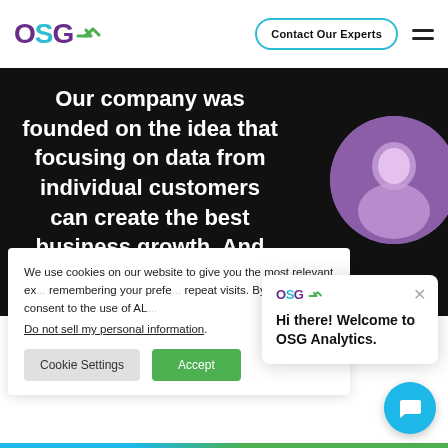OSG — Contact Our Experts
Our company was founded on the idea that focusing on data from individual customers can create the best business growth. And that continues to be our drive today.
[Figure (photo): Circular cropped photo of a smiling person with purple/violet color overlay]
We use cookies on our website to give you the most relevant ex... remembering your prefe... repeat visits. By clicking... consent to the use of AL...
Do not sell my personal information.
Hi there! Welcome to OSG Analytics.
Cookie Settings | Accept